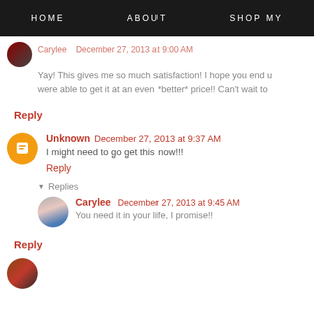HOME   ABOUT   SHOP MY
Yay! This gives me so much satisfaction! I hope you end u were able to get it at an even *better* price!! Can't wait to
Reply
Unknown  December 27, 2013 at 9:37 AM
I might need to go get this now!!!
Reply
▼  Replies
Carylee   December 27, 2013 at 9:45 AM
You need it in your life, I promise!!
Reply